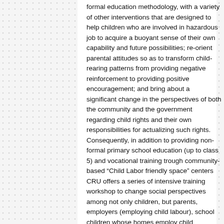formal education methodology, with a variety of other interventions that are designed to help children who are involved in hazardous job to acquire a buoyant sense of their own capability and future possibilities; re-orient parental attitudes so as to transform child-rearing patterns from providing negative reinforcement to providing positive encouragement; and bring about a significant change in the perspectives of both the community and the government regarding child rights and their own responsibilities for actualizing such rights. Consequently, in addition to providing non-formal primary school education (up to class 5) and vocational training trough community-based “Child Labor friendly space” centers CRU offers a series of intensive training workshop to change social perspectives among not only children, but parents, employers (employing child labour), school children whose homes employ child domestic workers, community leaders, and government official. The goal of the project is stop hazardous child labor and establishes rights of working children.